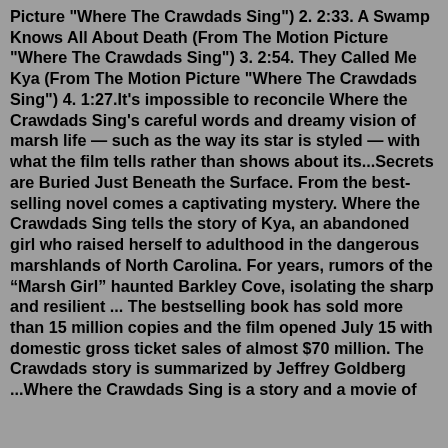Picture "Where The Crawdads Sing") 2. 2:33. A Swamp Knows All About Death (From The Motion Picture "Where The Crawdads Sing") 3. 2:54. They Called Me Kya (From The Motion Picture "Where The Crawdads Sing") 4. 1:27.It's impossible to reconcile Where the Crawdads Sing's careful words and dreamy vision of marsh life — such as the way its star is styled — with what the film tells rather than shows about its...Secrets are Buried Just Beneath the Surface. From the best-selling novel comes a captivating mystery. Where the Crawdads Sing tells the story of Kya, an abandoned girl who raised herself to adulthood in the dangerous marshlands of North Carolina. For years, rumors of the “Marsh Girl” haunted Barkley Cove, isolating the sharp and resilient ... The bestselling book has sold more than 15 million copies and the film opened July 15 with domestic gross ticket sales of almost $70 million. The Crawdads story is summarized by Jeffrey Goldberg ...Where the Crawdads Sing is a story and a movie of